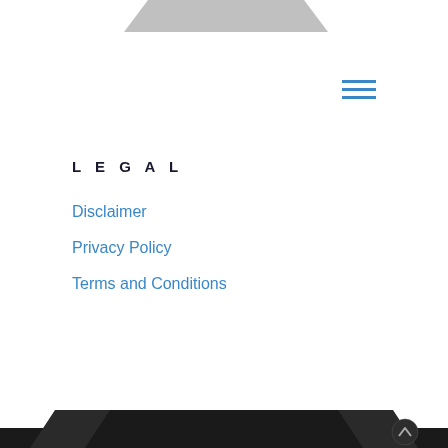[Figure (other): Top decorative bar with angled notch shapes in grey]
[Figure (other): Hamburger menu icon made of three horizontal blue lines]
LEGAL
Disclaimer
Privacy Policy
Terms and Conditions
[Figure (other): Bottom decorative bar with angled notch shapes in dark/black with an upward chevron arrow icon on the right side]